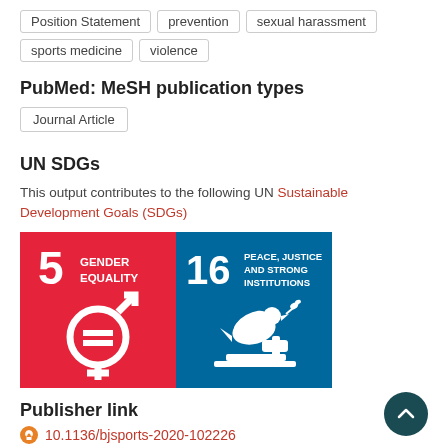Position Statement
prevention
sexual harassment
sports medicine
violence
PubMed: MeSH publication types
Journal Article
UN SDGs
This output contributes to the following UN Sustainable Development Goals (SDGs)
[Figure (illustration): UN SDG 5 Gender Equality badge - red/orange square with number 5, text GENDER EQUALITY, and gender equality symbol]
[Figure (illustration): UN SDG 16 Peace, Justice and Strong Institutions badge - blue square with number 16, text PEACE, JUSTICE AND STRONG INSTITUTIONS, and dove with olive branch icon]
Publisher link
10.1136/bjsports-2020-102226